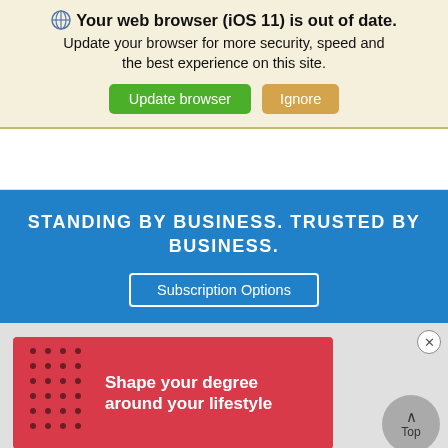🌐 Your web browser (iOS 11) is out of date. Update your browser for more security, speed and the best experience on this site. [Update browser] [Ignore]
[Figure (screenshot): White blank browser content area below the update banner]
STANDING BY BUSINESS. TRUSTED BY BUSINESS.
Subscription Options
[Figure (infographic): Red advertisement banner with dot grid pattern on left and text 'Shape your degree around your lifestyle' on white/red background]
Shape your degree around your lifestyle